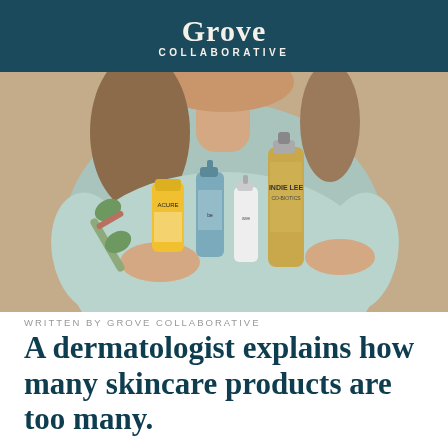Grove COLLABORATIVE
[Figure (photo): Woman in light blue sweater holding multiple skincare products including a jade roller, Acure tube, blue spray bottle, small white bottle, and Indie Lee bottle against a beige background]
WRITTEN BY GROVE COLLABORATIVE
A dermatologist explains how many skincare products are too many.